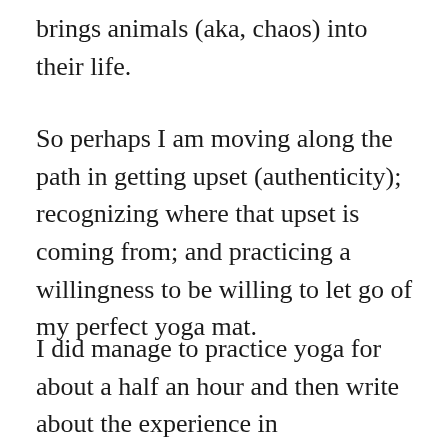brings animals (aka, chaos) into their life.
So perhaps I am moving along the path in getting upset (authenticity); recognizing where that upset is coming from; and practicing a willingness to be willing to let go of my perfect yoga mat.
I did manage to practice yoga for about a half an hour and then write about the experience in